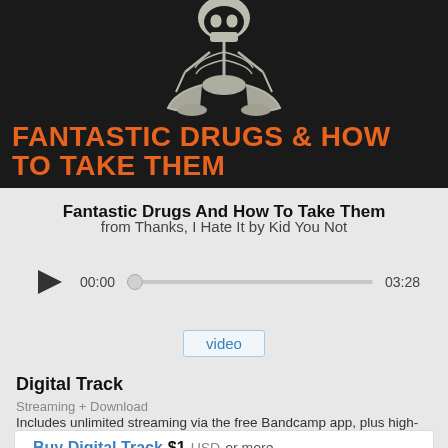[Figure (illustration): Album art for 'Fantastic Drugs And How To Take Them' by Kid You Not. Black background with a white line-art illustration of a seated skeleton figure, with bold orange text below reading 'FANTASTIC DRUGS & HOW TO TAKE THEM'.]
Fantastic Drugs And How To Take Them
from Thanks, I Hate It by Kid You Not
[Figure (other): Audio player with play button, time display showing 00:00 and 03:28, and a scrubber bar.]
video
Digital Track
Streaming + Download
Includes unlimited streaming via the free Bandcamp app, plus high-quality download in MP3, FLAC and more.
Buy Digital Track  $1  USD  or more